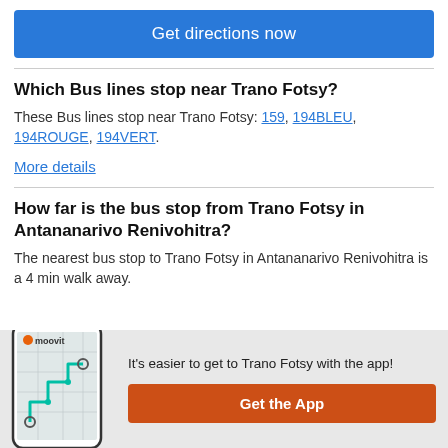Get directions now
Which Bus lines stop near Trano Fotsy?
These Bus lines stop near Trano Fotsy: 159, 194BLEU, 194ROUGE, 194VERT.
More details
How far is the bus stop from Trano Fotsy in Antananarivo Renivohitra?
The nearest bus stop to Trano Fotsy in Antananarivo Renivohitra is a 4 min walk away.
[Figure (screenshot): Moovit app screenshot showing a phone with the moovit logo and a map route]
It's easier to get to Trano Fotsy with the app!
Get the App